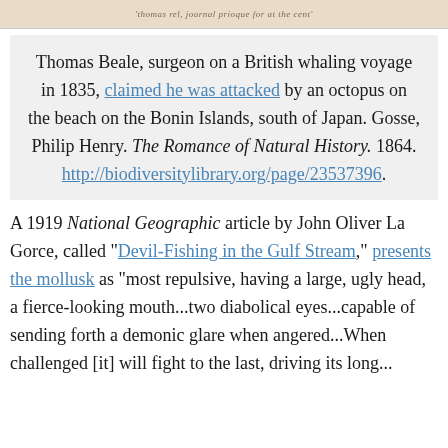[Figure (photo): Partial image strip at top of page, showing faded text or illustration in sepia/tan tones]
Thomas Beale, surgeon on a British whaling voyage in 1835, claimed he was attacked by an octopus on the beach on the Bonin Islands, south of Japan. Gosse, Philip Henry. The Romance of Natural History. 1864. http://biodiversitylibrary.org/page/23537396.
A 1919 National Geographic article by John Oliver La Gorce, called "Devil-Fishing in the Gulf Stream," presents the mollusk as "most repulsive, having a large, ugly head, a fierce-looking mouth...two diabolical eyes...capable of sending forth a demonic glare when angered...When challenged [it] will fight to the last, driving its long..."